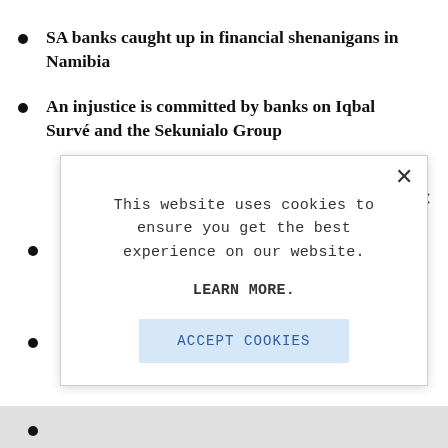SA banks caught up in financial shenanigans in Namibia
An injustice is committed by banks on Iqbal Survé and the Sekunialo Group
[Figure (screenshot): Cookie consent modal dialog with close X button, text 'This website uses cookies to ensure you get the best experience on our website.', a 'LEARN MORE.' link in bold, and an 'ACCEPT COOKIES' button in light blue.]